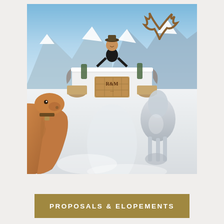[Figure (photo): Outdoor alpine winter scene with a woman standing behind a snow bar decorated with a wicker crate marked R&M, surrounded by snow-covered mountains. A cow is visible on the left foreground and a reindeer or large deer on the right. Bright sunny day with blue skies and snowy peaks in background.]
PROPOSALS & ELOPEMENTS